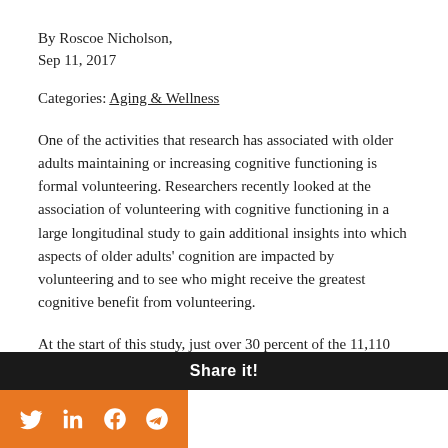By Roscoe Nicholson,
Sep 11, 2017
Categories: Aging & Wellness
One of the activities that research has associated with older adults maintaining or increasing cognitive functioning is formal volunteering. Researchers recently looked at the association of volunteering with cognitive functioning in a large longitudinal study to gain additional insights into which aspects of older adults' cognition are impacted by volunteering and to see who might receive the greatest cognitive benefit from volunteering.
At the start of this study, just over 30 percent of the 11,110 participants with an average age of 66 were formally volunteering. These individuals were more likely to be married and...
Share it!